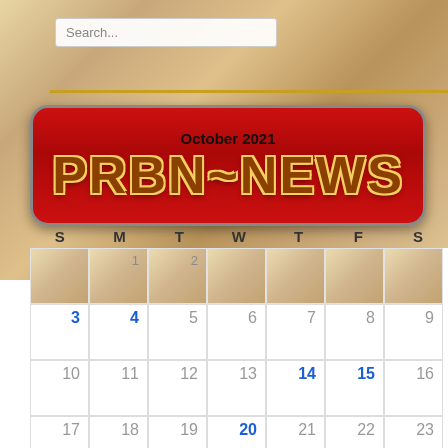[Figure (illustration): Mosaic tile textured background, beige/brown colors]
Search...
[Figure (illustration): PRBN~NEWS red banner with gold outlined brown block letters, hanging on chain. Month header: October 2021]
| S | M | T | W | T | F | S |
| --- | --- | --- | --- | --- | --- | --- |
| 1 | 2 |  |  |  |  |  |
| 3 | 4 | 5 | 6 | 7 | 8 | 9 |
| 10 | 11 | 12 | 13 | 14 | 15 | 16 |
| 17 | 18 | 19 | 20 | 21 | 22 | 23 |
| 24 | 25 | 26 | 27 | 28 | 29 | 30 |
| 31 |  |  |  |  |  |  |